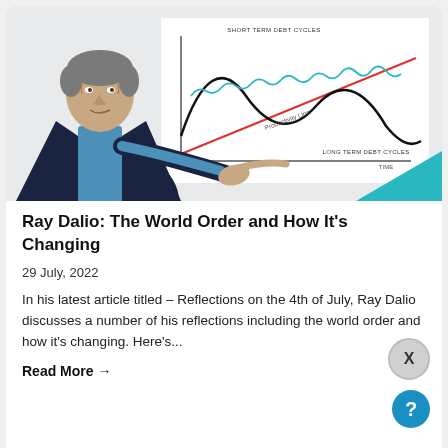[Figure (illustration): Illustration of Ray Dalio pointing at a debt cycle chart. The chart shows short term debt cycles (small wavy teal line), long term debt cycles (large wave in black), and a productivity line (straight red diagonal line going upward). Axes labeled 'SHORT TERM DEBT CYCLES', 'LONG TERM DEBT CYCLES', 'Productivity Line', and 'TIME'. A teal triangle shape appears in the bottom right corner.]
Ray Dalio: The World Order and How It's Changing
29 July, 2022
In his latest article titled – Reflections on the 4th of July, Ray Dalio discusses a number of his reflections including the world order and how it's changing. Here's...
Read More →